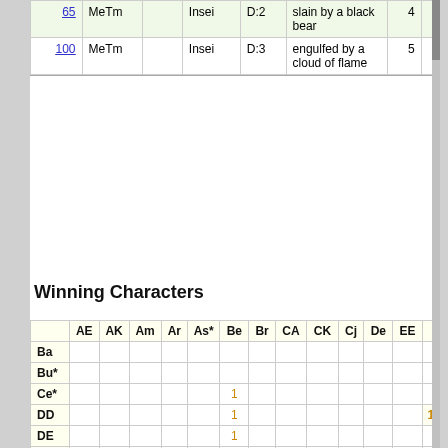|  |  |  | Insei | D:2 | slain by a black bear |  |
| --- | --- | --- | --- | --- | --- | --- |
| 65 | MeTm |  | Insei | D:2 | slain by a black bear | 4 |
| 100 | MeTm |  | Insei | D:3 | engulfed by a cloud of flame | 5 |
Winning Characters
|  | AE | AK | Am | Ar | As* | Be | Br | CA | CK | Cj | De | EE | ... |
| --- | --- | --- | --- | --- | --- | --- | --- | --- | --- | --- | --- | --- | --- |
| Ba |  |  |  |  |  |  |  |  |  |  |  |  |  |
| Bu* |  |  |  |  |  |  |  |  |  |  |  |  |  |
| Ce* |  |  |  |  |  | 1 |  |  |  |  |  |  |  |
| DD |  |  |  |  |  | 1 |  |  |  |  |  |  | 1 |
| DE |  |  |  |  |  | 1 |  |  |  |  |  |  |  |
| DG |  |  |  |  |  |  |  |  |  |  |  |  |  |
| DS |  |  | 1 |  |  | 1 |  |  |  |  |  |  |  |
| Dj |  |  |  |  |  |  |  |  |  |  |  |  |  |
| Dr |  |  |  |  |  | 1 |  |  |  |  |  |  |  |
| Fa |  |  |  |  |  |  |  |  |  |  |  |  | 1 |